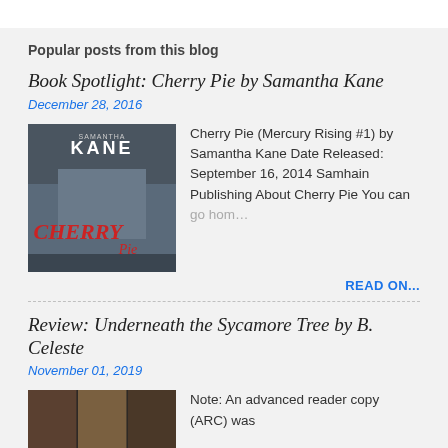Popular posts from this blog
Book Spotlight: Cherry Pie by Samantha Kane
December 28, 2016
[Figure (photo): Book cover for Cherry Pie by Samantha Kane showing a woman with red text CHERRY PIE]
Cherry Pie (Mercury Rising #1) by Samantha Kane Date Released: September 16, 2014 Samhain Publishing About Cherry Pie You can go home …
READ ON...
Review: Underneath the Sycamore Tree by B. Celeste
November 01, 2019
[Figure (photo): Book cover for Underneath the Sycamore Tree by B. Celeste]
Note: An advanced reader copy (ARC) was